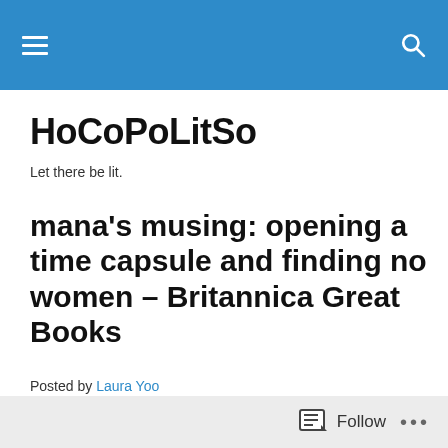HoCoPoLitSo navigation bar
HoCoPoLitSo
Let there be lit.
mana's musing: opening a time capsule and finding no women – Britannica Great Books
Posted by Laura Yoo
[Figure (photo): Partial image preview at bottom of page]
Follow ...